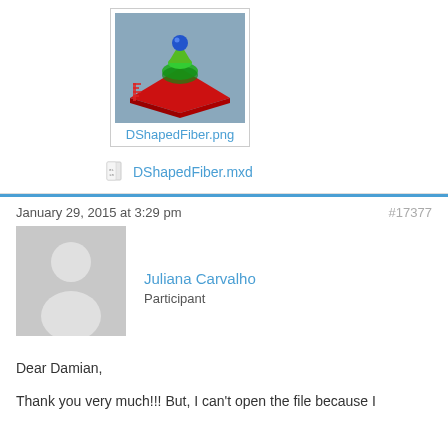[Figure (screenshot): 3D rendered image of a D-shaped fiber optic model on a red flat plane with green/blue/red coloring, shown as a thumbnail attachment]
DShapedFiber.png
DShapedFiber.mxd
January 29, 2015 at 3:29 pm
#17377
[Figure (photo): Default grey avatar placeholder image showing a silhouette of a person]
Juliana Carvalho
Participant
Dear Damian,
Thank you very much!!! But, I can't open the file because I